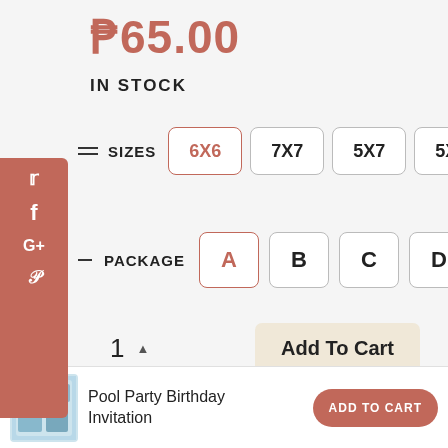₱65.00
IN STOCK
SIZES  6X6  7X7  5X7  5X8
PACKAGE  A  B  C  D
1  ▲  Add To Cart
[Figure (screenshot): Pool Party Birthday Invitation product thumbnail]
Pool Party Birthday Invitation
ADD TO CART